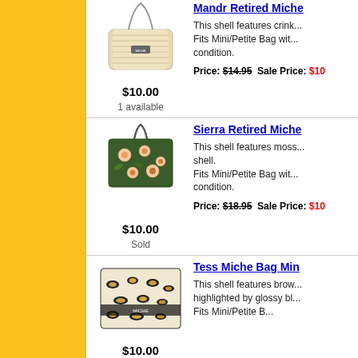[Figure (photo): Crinkle texture crossbody bag with chain strap]
$10.00
1 available
Mandr Retired Miche...
This shell features crink... Fits Mini/Petite Bag with... condition.
Price: $14.95  Sale Price: $10...
[Figure (photo): Floral green shoulder bag]
$10.00
Sold
Sierra Retired Miche...
This shell features moss... shell. Fits Mini/Petite Bag wit... condition.
Price: $18.95  Sale Price: $10...
[Figure (photo): Brown and black leopard print mini bag]
$10.00
Tess Miche Bag Min...
This shell features brow... highlighted by glossy bl... Fits Mini/Petite B...